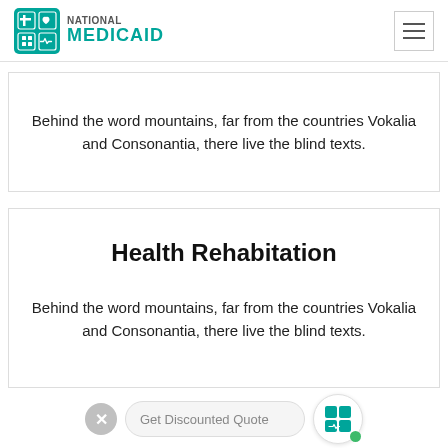NATIONAL MEDICAID
Behind the word mountains, far from the countries Vokalia and Consonantia, there live the blind texts.
Health Rehabitation
Behind the word mountains, far from the countries Vokalia and Consonantia, there live the blind texts.
Get Discounted Quote